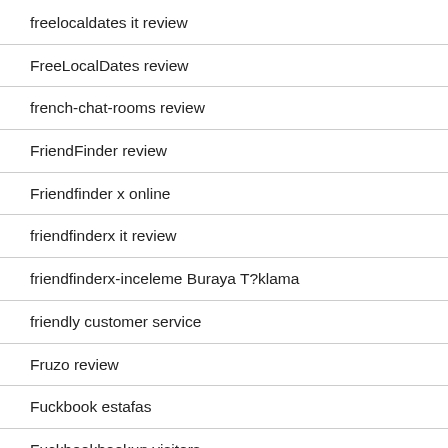freelocaldates it review
FreeLocalDates review
french-chat-rooms review
FriendFinder review
Friendfinder x online
friendfinderx it review
friendfinderx-inceleme Buraya T?klama
friendly customer service
Fruzo review
Fuckbook estafas
Fuckbookhookup visitors